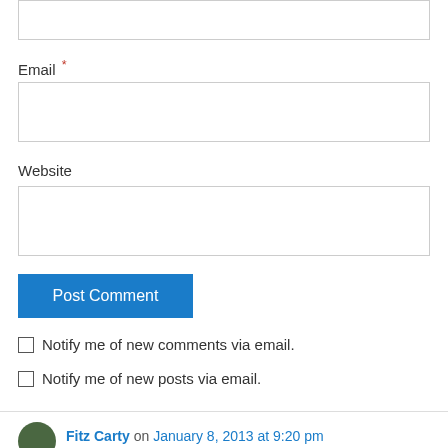[Figure (screenshot): Partial text input field (cropped at top of page)]
Email *
[Figure (screenshot): Email text input field]
Website
[Figure (screenshot): Website text input field]
Post Comment
Notify me of new comments via email.
Notify me of new posts via email.
Fitz Carty on January 8, 2013 at 9:20 pm